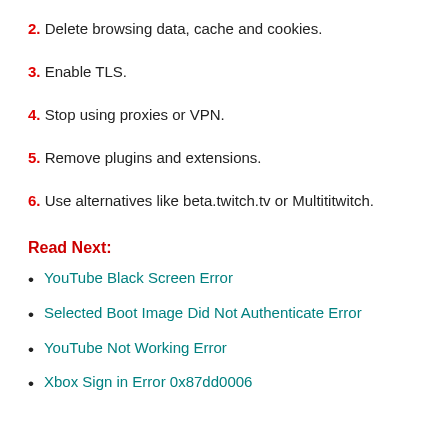2. Delete browsing data, cache and cookies.
3. Enable TLS.
4. Stop using proxies or VPN.
5. Remove plugins and extensions.
6. Use alternatives like beta.twitch.tv or Multititwitch.
Read Next:
YouTube Black Screen Error
Selected Boot Image Did Not Authenticate Error
YouTube Not Working Error
Xbox Sign in Error 0x87dd0006